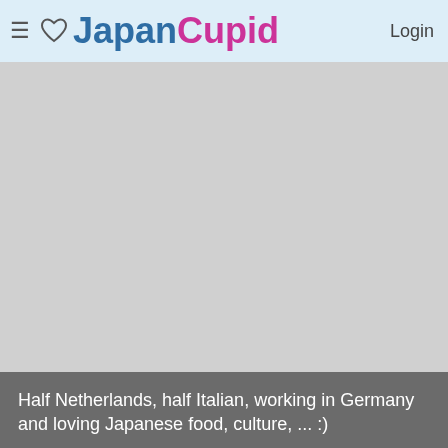JapanCupid  Login
[Figure (photo): Large gray placeholder photo area occupying most of the page]
Half Netherlands, half Italian, working in Germany and loving Japanese food, culture, ... :)
Marcus